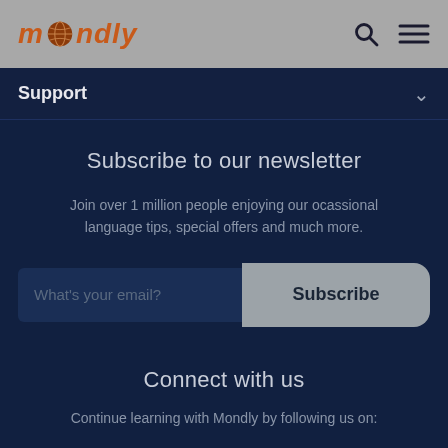mondly
Support
Subscribe to our newsletter
Join over 1 million people enjoying our ocassional language tips, special offers and much more.
What's your email?   Subscribe
Connect with us
Continue learning with Mondly by following us on: